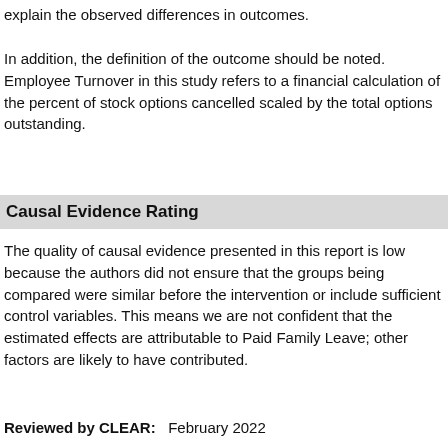explain the observed differences in outcomes.
In addition, the definition of the outcome should be noted. Employee Turnover in this study refers to a financial calculation of the percent of stock options cancelled scaled by the total options outstanding.
Causal Evidence Rating
The quality of causal evidence presented in this report is low because the authors did not ensure that the groups being compared were similar before the intervention or include sufficient control variables. This means we are not confident that the estimated effects are attributable to Paid Family Leave; other factors are likely to have contributed.
Reviewed by CLEAR:  February 2022